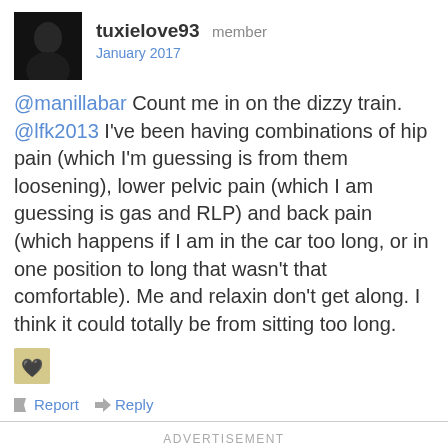tuxielove93 member
January 2017
@manillabar Count me in on the dizzy train. @lfk2013 I've been having combinations of hip pain (which I'm guessing is from them loosening), lower pelvic pain (which I am guessing is gas and RLP) and back pain (which happens if I am in the car too long, or in one position to long that wasn't that comfortable). Me and relaxin don't get along. I think it could totally be from sitting too long.
[Figure (illustration): Small reaction icon with a heart emoji]
Report   Reply
ADVERTISEMENT
[Figure (photo): Advertisement image for mommy's BLISS showing a woman and a baby]